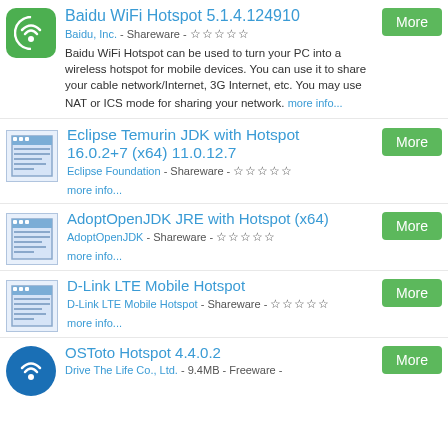Baidu WiFi Hotspot 5.1.4.124910 | Baidu, Inc. - Shareware - | Baidu WiFi Hotspot can be used to turn your PC into a wireless hotspot for mobile devices. You can use it to share your cable network/Internet, 3G Internet, etc. You may use NAT or ICS mode for sharing your network. more info...
Eclipse Temurin JDK with Hotspot 16.0.2+7 (x64) 11.0.12.7 | Eclipse Foundation - Shareware - | more info...
AdoptOpenJDK JRE with Hotspot (x64) | AdoptOpenJDK - Shareware - | more info...
D-Link LTE Mobile Hotspot | D-Link LTE Mobile Hotspot - Shareware - | more info...
OSToto Hotspot 4.4.0.2 | Drive The Life Co., Ltd. - 9.4MB - Freeware -